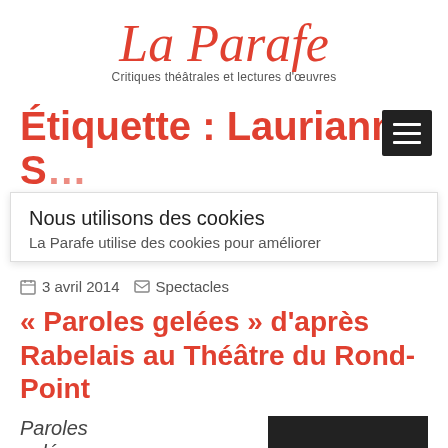La Parafe — Critiques théâtrales et lectures d'œuvres
Étiquette : Laurianne S…
Nous utilisons des cookies
La Parafe utilise des cookies pour améliorer
3 avril 2014  Spectacles
« Paroles gelées » d'après Rabelais au Théâtre du Rond-Point
Paroles gelées